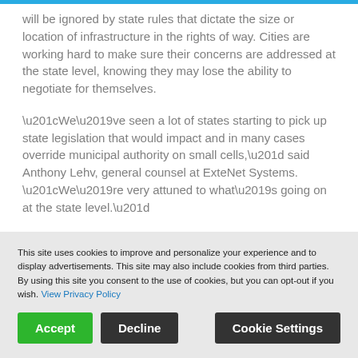will be ignored by state rules that dictate the size or location of infrastructure in the rights of way. Cities are working hard to make sure their concerns are addressed at the state level, knowing they may lose the ability to negotiate for themselves.
“We’ve seen a lot of states starting to pick up state legislation that would impact and in many cases override municipal authority on small cells,” said Anthony Lehv, general counsel at ExteNet Systems. “We’re very attuned to what’s going on at the state level.”
There are several points of contention between
This site uses cookies to improve and personalize your experience and to display advertisements. This site may also include cookies from third parties. By using this site you consent to the use of cookies, but you can opt-out if you wish. View Privacy Policy